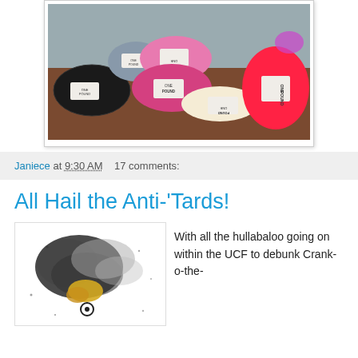[Figure (photo): Photo of multiple skeins of Caron One Pound yarn in various colors (black, grey, pink, hot pink, cream, red/coral) arranged on a wooden table surface.]
Janiece at 9:30 AM    17 comments:
All Hail the Anti-'Tards!
[Figure (photo): Abstract artistic image with dark smoke-like swirls and colorful elements including yellow and brown tones, with scattered dot/splatter effects on white background.]
With all the hullabaloo going on within the UCF to debunk Crank-o-the-